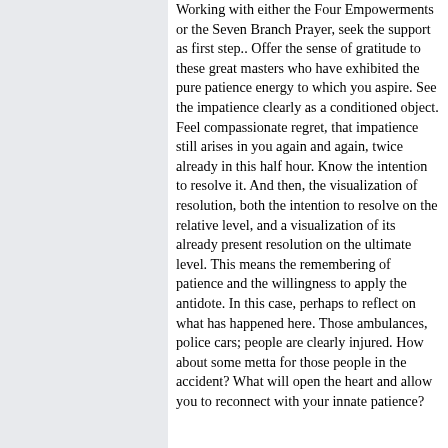Working with either the Four Empowerments or the Seven Branch Prayer, seek the support as first step.. Offer the sense of gratitude to these great masters who have exhibited the pure patience energy to which you aspire. See the impatience clearly as a conditioned object. Feel compassionate regret, that impatience still arises in you again and again, twice already in this half hour. Know the intention to resolve it. And then, the visualization of resolution, both the intention to resolve on the relative level, and a visualization of its already present resolution on the ultimate level. This means the remembering of patience and the willingness to apply the antidote. In this case, perhaps to reflect on what has happened here. Those ambulances, police cars; people are clearly injured. How about some metta for those people in the accident? What will open the heart and allow you to reconnect with your innate patience?